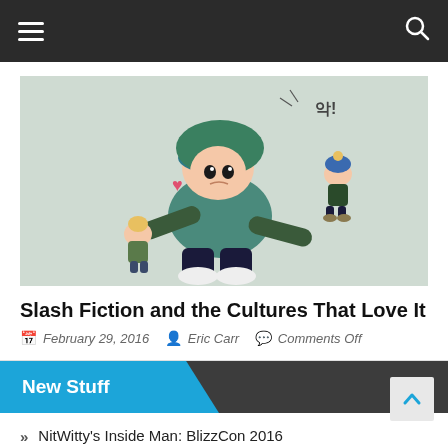Navigation bar with hamburger menu and search icon
[Figure (illustration): Anime-style chibi illustration of a character in a teal/blue hoodie holding blonde doll figures, with Korean text '악!' displayed, on a light grey-green background]
Slash Fiction and the Cultures That Love It
February 29, 2016  Eric Carr  Comments Off
New Stuff
NitWitty's Inside Man: BlizzCon 2016